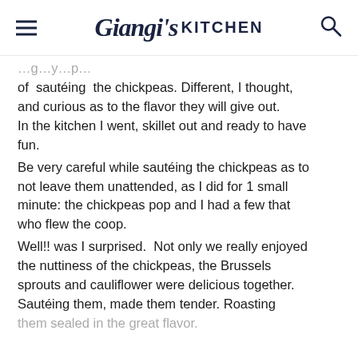Giangi's Kitchen
of sautéing the chickpeas. Different, I thought, and curious as to the flavor they will give out. In the kitchen I went, skillet out and ready to have fun.
Be very careful while sautéing the chickpeas as to not leave them unattended, as I did for 1 small minute: the chickpeas pop and I had a few that who flew the coop.
Well!! was I surprised.  Not only we really enjoyed the nuttiness of the chickpeas, the Brussels sprouts and cauliflower were delicious together. Sautéing them, made them tender. Roasting them sealed in the great flavor.